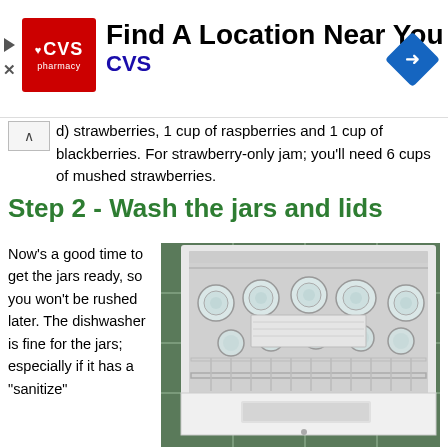[Figure (other): CVS Pharmacy advertisement banner with CVS logo, text 'Find A Location Near You' and 'CVS', and a navigation arrow diamond icon]
For triple berry jam, I use 4 cups of mushed (slightly mashed) strawberries, 1 cup of raspberries and 1 cup of blackberries. For strawberry-only jam; you'll need 6 cups of mushed strawberries.
Step 2 - Wash the jars and lids
Now's a good time to get the jars ready, so you won't be rushed later. The dishwasher is fine for the jars; especially if it has a "sanitize"
[Figure (photo): Photo of an open dishwasher loaded with glass canning jars and lids on the rack, placed on a green tiled floor]